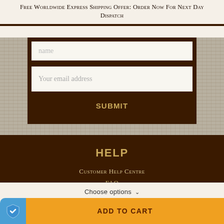Free Worldwide Express Shipping Offer: Order Now For Next Day Dispatch
[Figure (screenshot): Form with name input field, email address input field, and a Submit button, on a dark brown background with knit-textured sides]
HELP
Customer Help Centre
FAQ
Choose options ∨
ADD TO CART